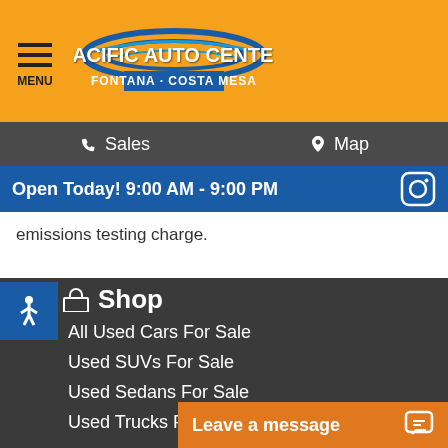PACIFIC AUTO CENTER - FONTANA - COSTA MESA
Sales | Map
Open Today! 9:00 AM - 9:00 PM
emissions testing charge.
Shop
All Used Cars For Sale
Used SUVs For Sale
Used Sedans For Sale
Used Trucks For Sale
Used Cars Under $11K
Popular Used M
Leave a message